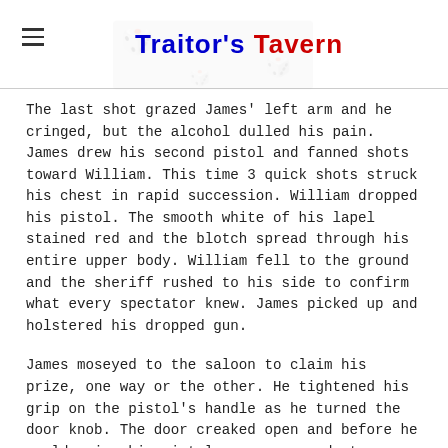Traitor's Tavern
The last shot grazed James' left arm and he cringed, but the alcohol dulled his pain. James drew his second pistol and fanned shots toward William. This time 3 quick shots struck his chest in rapid succession. William dropped his pistol. The smooth white of his lapel stained red and the blotch spread through his entire upper body. William fell to the ground and the sheriff rushed to his side to confirm what every spectator knew. James picked up and holstered his dropped gun.
James moseyed to the saloon to claim his prize, one way or the other. He tightened his grip on the pistol's handle as he turned the door knob. The door creaked open and before he could raise his pistol or say a word, two shotgun blasts rung out